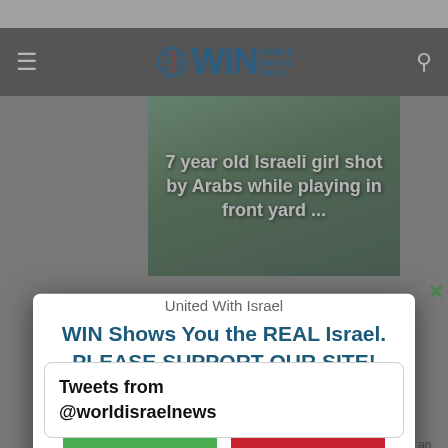[Figure (screenshot): World Israel News (WIN) website screenshot with navigation bar showing logo, hamburger menu, and search icon. Background shows a partially visible news article image with text about an Israeli girl shot by Arabs. A modal popup dialog overlays the page.]
WIN Shows You the REAL Israel. PLEASE SUPPORT OUR SITE!
OK!
No Thanks
United With Israel
Tweets from @worldisraelnews